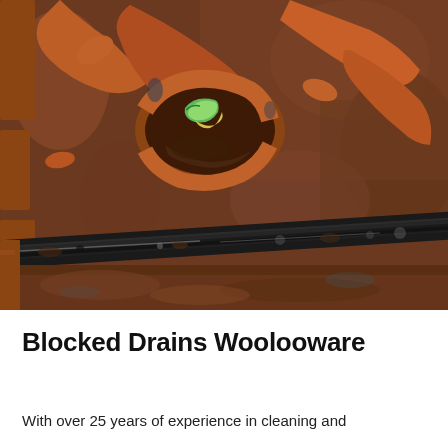[Figure (photo): Close-up photograph of a broken clay/terracotta pipe in a muddy excavation. The cracked pipe pieces are reddish-brown, surrounded by dark brown earth. A green/yellow object is visible inside the broken pipe opening. A dark metal or rubber rod/bar runs diagonally across the lower portion of the image.]
Blocked Drains Woolooware
With over 25 years of experience in cleaning and